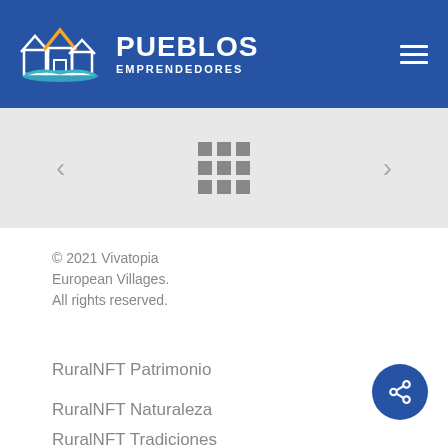[Figure (logo): Pueblos Emprendedores logo - houses icon with PUEBLOS EMPRENDEDORES text on blue header background]
[Figure (other): Navigation slider area with left arrow, 3x3 grid of dots, and right arrow on gray background]
© 2021 Vivatopia European Villages. All rights reserved.
RuralNFT Patrimonio
RuralNFT Naturaleza
RuralNFT Tradiciones